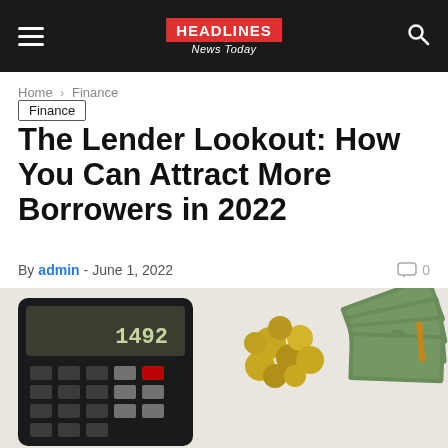HEADLINES News Today
Home › Finance
Finance
The Lender Lookout: How You Can Attract More Borrowers in 2022
By admin - June 1, 2022  💬 0
[Figure (photo): Top-down view of a black calculator showing 1492 on display, scattered coins, and fanned US dollar bills on a white surface]